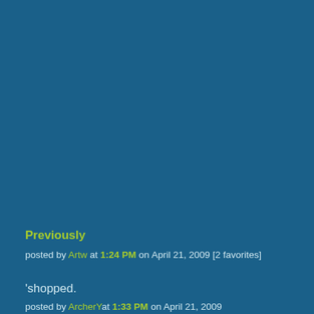Previously
posted by Artw at 1:24 PM on April 21, 2009 [2 favorites]
'shopped.
posted by ArcherYat 1:33 PM on April 21, 2009